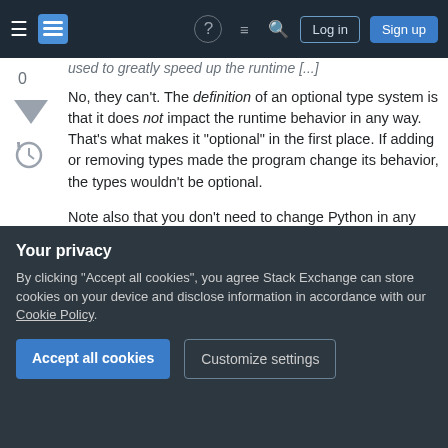Stack Exchange navigation bar with hamburger menu, logo, help icon, chat icon, search icon, Log in and Sign up buttons
used to greatly speed up the runtime [...]
No, they can't. The definition of an optional type system is that it does not impact the runtime behavior in any way. That's what makes it "optional" in the first place. If adding or removing types made the program change its behavior, the types wouldn't be optional.

Note also that you don't need to change Python in any way to typecheck it. You could just write your type annotations in comments, after all. What you
Your privacy
By clicking "Accept all cookies", you agree Stack Exchange can store cookies on your device and disclose information in accordance with our Cookie Policy.
Accept all cookies
Customize settings
you need to write a typechecker for this typesystem.